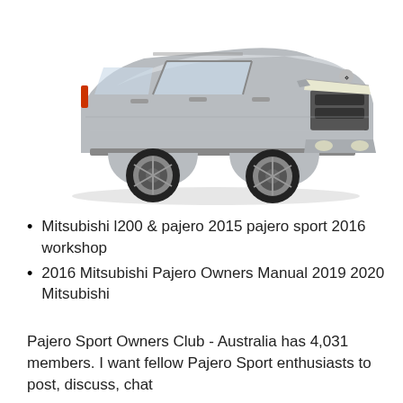[Figure (photo): Silver Mitsubishi Pajero Sport SUV photographed from a front three-quarter angle on a white background]
Mitsubishi l200 & pajero 2015 pajero sport 2016 workshop
2016 Mitsubishi Pajero Owners Manual 2019 2020 Mitsubishi
Pajero Sport Owners Club - Australia has 4,031 members. I want fellow Pajero Sport enthusiasts to post, discuss, chat